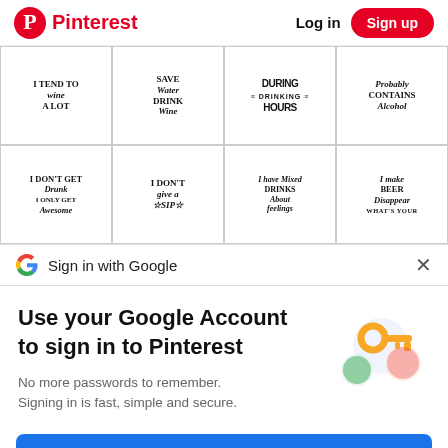Pinterest | Log in | Sign up
[Figure (screenshot): Grid of 8 alcohol/drinking humor typography designs: 'I TEND TO WINE A LOT', 'SAVE Water DRINK Wine', 'DURING DRINKING HOURS', 'PROBABLY CONTAINS Alcohol', 'I DON'T GET Drunk I ONLY GET Awesome', 'I DON'T give a SIP', 'I have Mixed DRINKS About feelings', 'I make BEER Disappear WHAT'S YOUR']
Sign in with Google
Use your Google Account to sign in to Pinterest
No more passwords to remember. Signing in is fast, simple and secure.
Continue